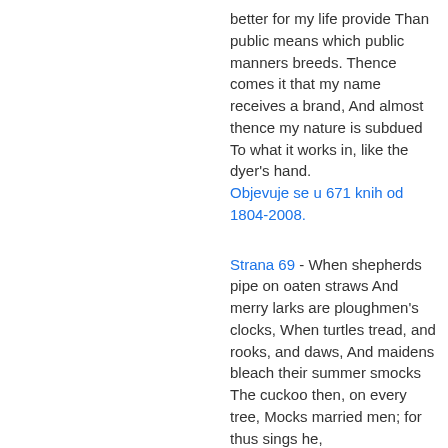better for my life provide Than public means which public manners breeds. Thence comes it that my name receives a brand, And almost thence my nature is subdued To what it works in, like the dyer's hand. Objevuje se u 671 knih od 1804-2008.
Strana 69 - When shepherds pipe on oaten straws And merry larks are ploughmen's clocks, When turtles tread, and rooks, and daws, And maidens bleach their summer smocks The cuckoo then, on every tree, Mocks married men; for thus sings he,